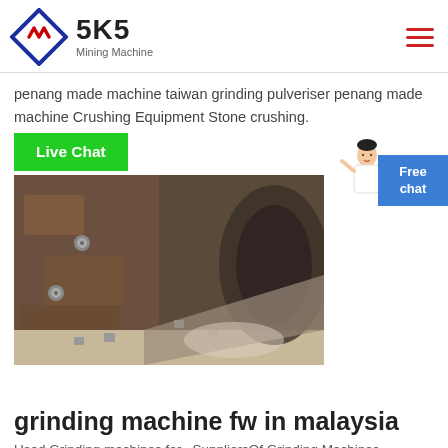SKS Mining Machine
penang made machine taiwan grinding pulveriser penang made machine Crushing Equipment Stone crushing.
[Figure (screenshot): Green Live Chat button overlay on industrial machine interior photo showing metal plates with bolts inside a crusher or grinding machine]
grinding machine fw in malaysia
Used Grinding machines for , SuppliersOf Grinding Machines